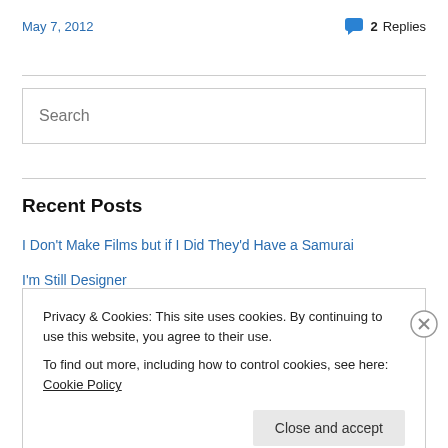May 7, 2012
2 Replies
Search
Recent Posts
I Don't Make Films but if I Did They'd Have a Samurai
I'm Still Designer
Privacy & Cookies: This site uses cookies. By continuing to use this website, you agree to their use.
To find out more, including how to control cookies, see here: Cookie Policy
Close and accept